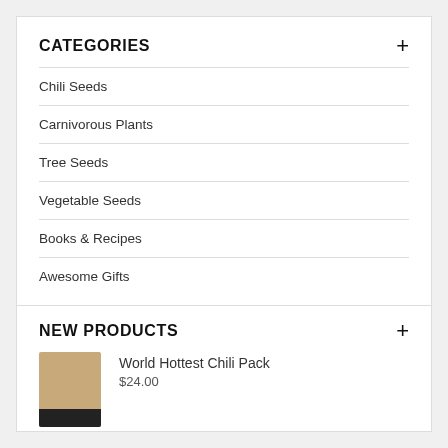CATEGORIES
Chili Seeds
Carnivorous Plants
Tree Seeds
Vegetable Seeds
Books & Recipes
Awesome Gifts
NEW PRODUCTS
[Figure (photo): Product image of a brown kraft paper bag with a dark label band at the bottom]
World Hottest Chili Pack
$24.00